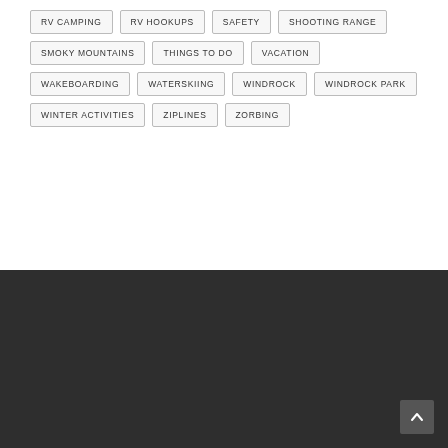RV CAMPING
RV HOOKUPS
SAFETY
SHOOTING RANGE
SMOKY MOUNTAINS
THINGS TO DO
VACATION
WAKEBOARDING
WATERSKIING
WINDROCK
WINDROCK PARK
WINTER ACTIVITIES
ZIPLINES
ZORBING